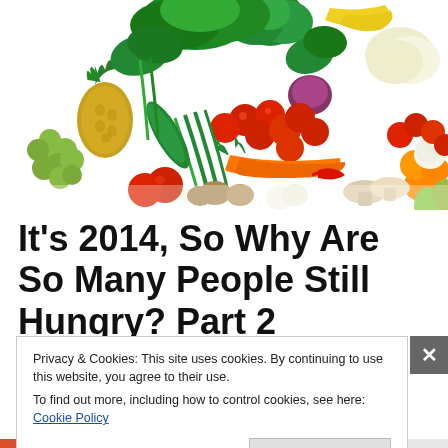[Figure (photo): A large colorful arrangement of fresh fruits and vegetables on a white background, including pineapple, grapes, broccoli, bananas, cauliflower, tomatoes, carrots, peppers, mushrooms, garlic, apples, and more.]
It’s 2014, So Why Are So Many People Still Hungry? Part 2
Privacy & Cookies: This site uses cookies. By continuing to use this website, you agree to their use.
To find out more, including how to control cookies, see here: Cookie Policy
Close and accept